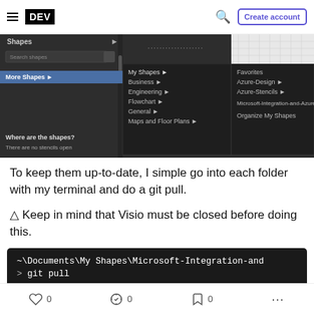DEV | Create account
[Figure (screenshot): Visio Shapes panel showing 'More Shapes' menu expanded with My Shapes submenu open, listing Favorites, Azure-Design, Azure-Stencils, Microsoft-Integration-and-Azure-Stencils-Pack-for-Visio, Organize My Shapes. Also shows Business, Engineering, Flowchart, General, Maps and Floor Plans categories. Text 'Where are the shapes?' and 'There are no stencils open' visible.]
To keep them up-to-date, I simple go into each folder with my terminal and do a git pull.
⚠ Keep in mind that Visio must be closed before doing this.
[Figure (screenshot): Terminal code block showing: ~\Documents\My Shapes\Microsoft-Integration-and and > git pull]
0 likes  0 unicorns  0 bookmarks  ...